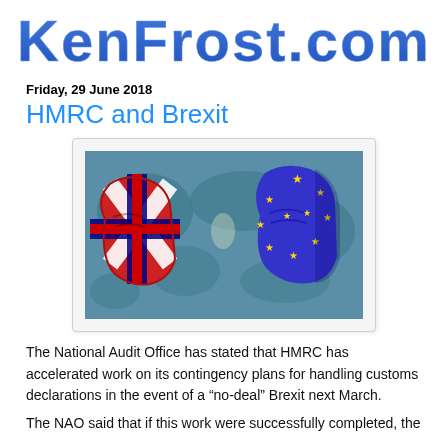KenFrost.com
Friday, 29 June 2018
HMRC and Brexit
[Figure (photo): Two fists bumping — one wrapped in a Union Jack flag, one wrapped in the EU flag with yellow stars on blue background — against a world map background. Represents Brexit / UK-EU conflict.]
The National Audit Office has stated that HMRC has accelerated work on its contingency plans for handling customs declarations in the event of a “no-deal” Brexit next March.
The NAO said that if this work were successfully completed, the